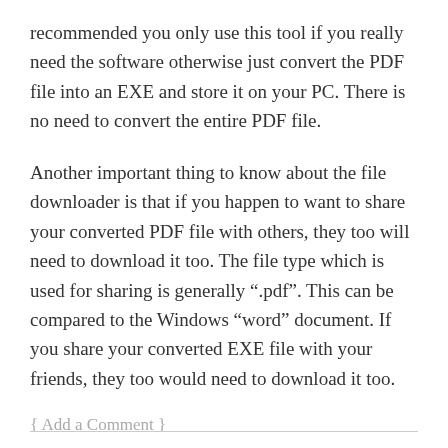recommended you only use this tool if you really need the software otherwise just convert the PDF file into an EXE and store it on your PC. There is no need to convert the entire PDF file.
Another important thing to know about the file downloader is that if you happen to want to share your converted PDF file with others, they too will need to download it too. The file type which is used for sharing is generally “.pdf”. This can be compared to the Windows “word” document. If you share your converted EXE file with your friends, they too would need to download it too.
{ Add a Comment }